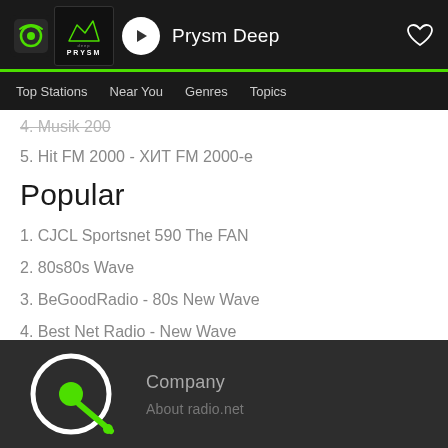Prysm Deep — Now playing header with navigation: Top Stations, Near You, Genres, Topics
4. Musik 200
5. Hit FM 2000 - ХИТ FM 2000-е
Popular
1. CJCL Sportsnet 590 The FAN
2. 80s80s Wave
3. BeGoodRadio - 80s New Wave
4. Best Net Radio - New Wave
5. Boom 97.3 FM - CHBM FM
Company / About radio.net